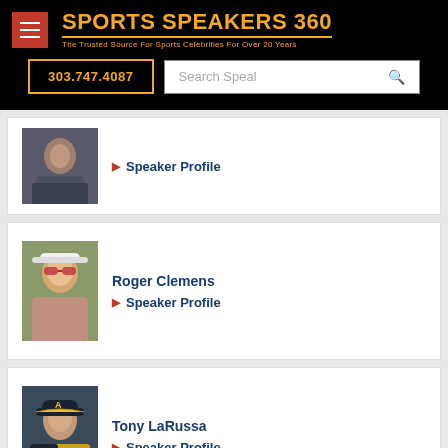SPORTS SPEAKERS 360 — The Trusted Source For Sports Celebrities For Over 20 Years
303.747.4087
Search Speakers
Speaker Profile
Roger Clemens
Speaker Profile
Tony LaRussa
Speaker Profile